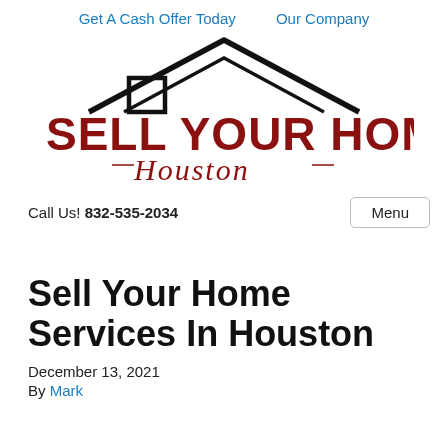Get A Cash Offer Today   Our Company
[Figure (logo): Sell Your Homes Houston logo with house roof outline above bold dark red text SELL YOUR HOMES and cursive Houston below]
Call Us! 832-535-2034    Menu
Sell Your Home Services In Houston
December 13, 2021
By Mark